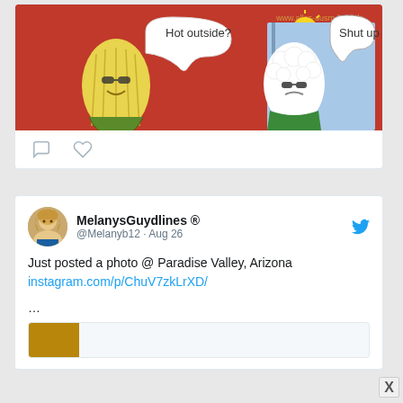[Figure (illustration): Comic meme showing a corn cob saying 'Hot outside?' to a popcorn figure who says 'Shut up'. Red background. URL watermark: www.alles-ausm-kopf.de]
[Figure (illustration): Twitter/X tweet interaction icons: comment bubble and heart/like icon]
MelanysGuydlines ® @Melanyb12 · Aug 26
Just posted a photo @ Paradise Valley, Arizona instagram.com/p/ChuV7zkLrXD/ ...
[Figure (screenshot): Partial preview thumbnail of a photo at bottom of tweet]